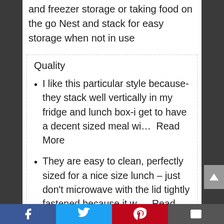and freezer storage or taking food on the go Nest and stack for easy storage when not in use
Quality
I like this particular style because-they stack well vertically in my fridge and lunch box-i get to have a decent sized meal wi...  Read More
They are easy to clean, perfectly sized for a nice size lunch – just don't microwave with the lid tightly fastened because it w...  Read More
Facebook | Twitter | Pinterest | Email